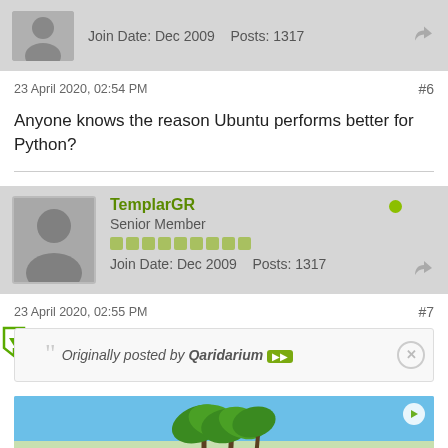Join Date: Dec 2009    Posts: 1317
23 April 2020, 02:54 PM
#6
Anyone knows the reason Ubuntu performs better for Python?
TemplarGR
Senior Member
Join Date: Dec 2009    Posts: 1317
23 April 2020, 02:55 PM
#7
Originally posted by Qaridarium